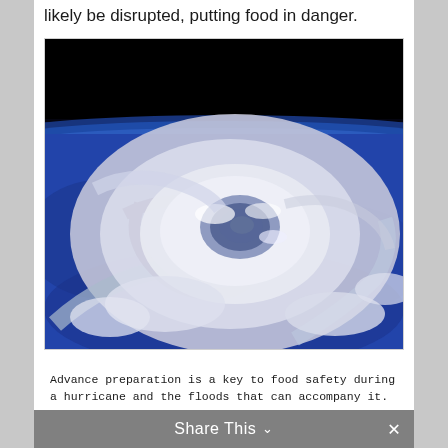likely be disrupted, putting food in danger.
[Figure (photo): Aerial/satellite view of a hurricane from space, showing the eye of the storm with swirling white cloud bands against a deep blue ocean and black space background.]
Advance preparation is a key to food safety during a hurricane and the floods that can accompany it.
Share This